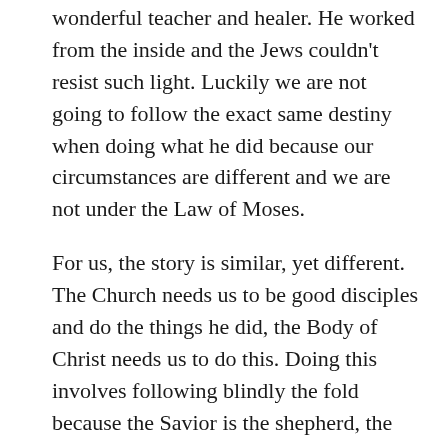wonderful teacher and healer. He worked from the inside and the Jews couldn't resist such light. Luckily we are not going to follow the exact same destiny when doing what he did because our circumstances are different and we are not under the Law of Moses.
For us, the story is similar, yet different. The Church needs us to be good disciples and do the things he did, the Body of Christ needs us to do this. Doing this involves following blindly the fold because the Savior is the shepherd, the prophets and the general authorities are just more sheep in the group, and they're following the best they can.
The suggestion I gave to Sam was in the direction of being the teacher the Church needs,